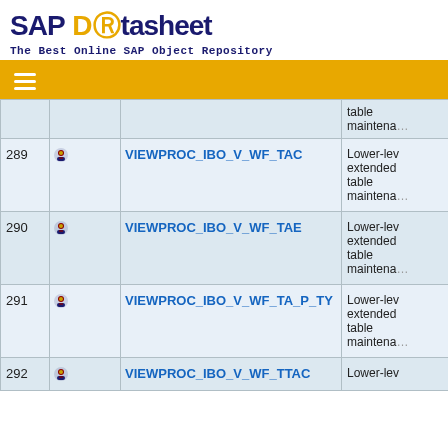SAP Datasheet - The Best Online SAP Object Repository
| # | Name |  | Description |
| --- | --- | --- | --- |
|  |  |  | table maintenance |
| 289 | VIEWPROC_IBO_V_WF_TAC |  | Lower-level extended table maintenance |
| 290 | VIEWPROC_IBO_V_WF_TAE |  | Lower-level extended table maintenance |
| 291 | VIEWPROC_IBO_V_WF_TA_P_TY |  | Lower-level extended table maintenance |
| 292 | VIEWPROC_IBO_V_WF_TTAC |  | Lower-lev... |